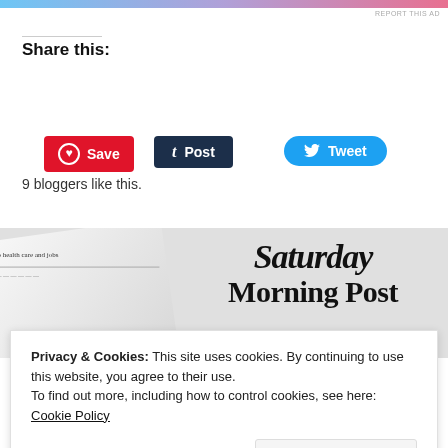[Figure (other): Gradient ad banner at top of page (blue to pink gradient)]
REPORT THIS AD
Share this:
[Figure (other): Pinterest Save button (red), Tumblr Post button (dark navy), Twitter Tweet button (blue)]
[Figure (other): Like star button followed by a row of 9 blogger avatar thumbnails]
9 bloggers like this.
[Figure (photo): Newspaper image showing Saturday Morning Post masthead in blackletter typeface, with folded newspaper in foreground]
Privacy & Cookies: This site uses cookies. By continuing to use this website, you agree to their use.
To find out more, including how to control cookies, see here: Cookie Policy
Close and accept